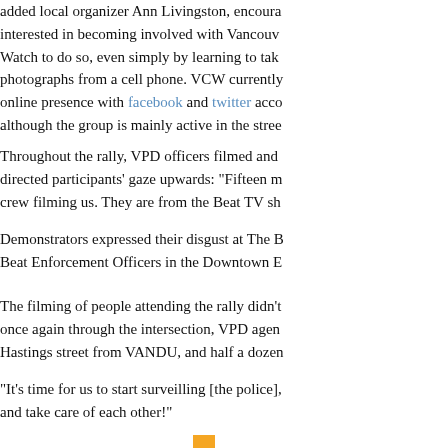added local organizer Ann Livingston, encouraged anyone interested in becoming involved with Vancouver Cop Watch to do so, even simply by learning to take photographs from a cell phone. VCW currently has an online presence with facebook and twitter accounts, although the group is mainly active in the streets.
Throughout the rally, VPD officers filmed and directed participants' gaze upwards: "Fifteen m... crew filming us. They are from the Beat TV sh...
Demonstrators expressed their disgust at The B... Beat Enforcement Officers in the Downtown E...
The filming of people attending the rally didn't... once again through the intersection, VPD agen... Hastings street from VANDU, and half a dozen...
"It's time for us to start surveilling [the police],... and take care of each other!"